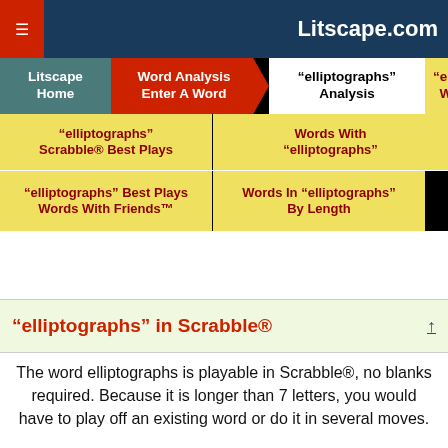Litscape.com
| Litscape Home | Word Analysis Enter A Word | “elliptographs” Analysis | “elliptographs” Word Growth |
| “elliptographs” Scrabble® Best Plays | Words With “elliptographs” |  |  |
| “elliptographs” Best Plays Words With Friends™ | Words In “elliptographs” By Length |  |  |
“elliptographs” in Scrabble®
The word elliptographs is playable in Scrabble®, no blanks required. Because it is longer than 7 letters, you would have to play off an existing word or do it in several moves.